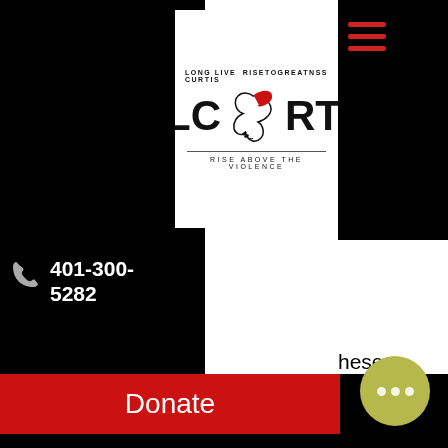[Figure (logo): LLC RTG logo — Long Live Curtis / RiseToGreatness with dove graphic and 'Rise Above The Violence' tagline]
401-300-5282
Donate
melatonin, progesterone and/or testosterone) found in the saliva. Estrogens, progesterone, testosterone, dhea-s and cortisol are routinely measured in saliva at zrt. Steroid hormones in the bloodstream are mostly (95-99%). Buy zrt saliva profile lll - e2 pg t ds cx4 hormone test estrogen testosterone zrts3 online at an affordable price. Ubuy is the leading international. testing the activity of estrogens, progesterone, testosterone and dhea hormones. Eunct well testosterone test…